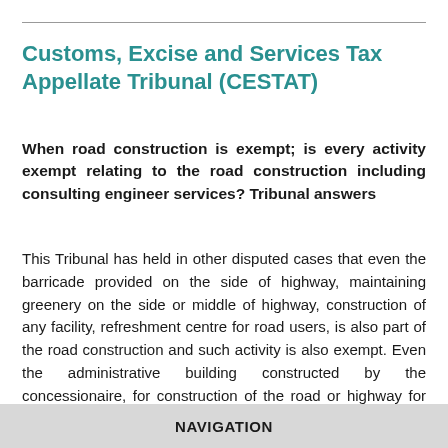Customs, Excise and Services Tax Appellate Tribunal (CESTAT)
When road construction is exempt; is every activity exempt relating to the road construction including consulting engineer services? Tribunal answers
This Tribunal has held in other disputed cases that even the barricade provided on the side of highway, maintaining greenery on the side or middle of highway, construction of any facility, refreshment centre for road users, is also part of the road construction and such activity is also exempt. Even the administrative building constructed by the concessionaire, for construction of the road or highway for administration
NAVIGATION